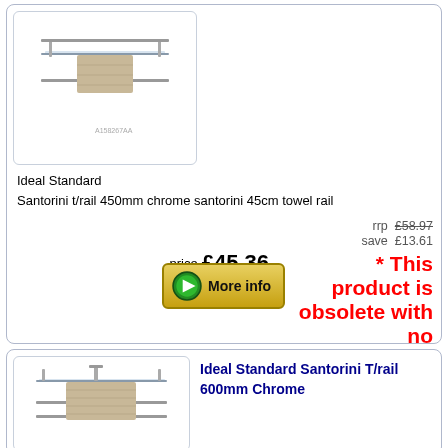[Figure (photo): Ideal Standard Santorini t/rail 450mm chrome towel rail product image]
Ideal Standard
Santorini t/rail 450mm chrome santorini 45cm towel rail
rrp £58.97
save £13.61
price £45.36 * This product is obsolete with no stock.
[Figure (other): More info button with green arrow]
[Figure (photo): Ideal Standard Santorini T/rail 600mm Chrome product image]
Ideal Standard Santorini T/rail 600mm Chrome